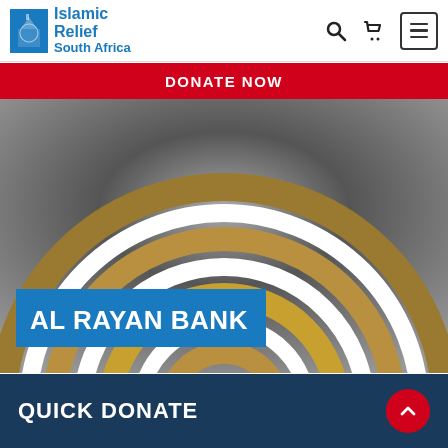Islamic Relief South Africa
DONATE NOW
[Figure (logo): Al Rayan Bank logo with concentric golden arcs on dark gradient background with 'AL RAYAN BANK' text overlay in blue box]
QUICK DONATE